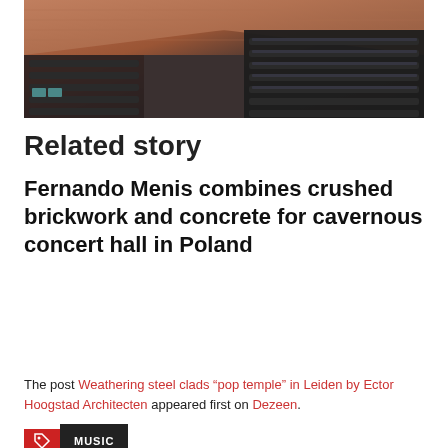[Figure (photo): Interior of a concert hall with brick ceiling and rows of dark seats]
Related story
Fernando Menis combines crushed brickwork and concrete for cavernous concert hall in Poland
The post Weathering steel clads “pop temple” in Leiden by Ector Hoogstad Architecten appeared first on Dezeen.
MUSIC